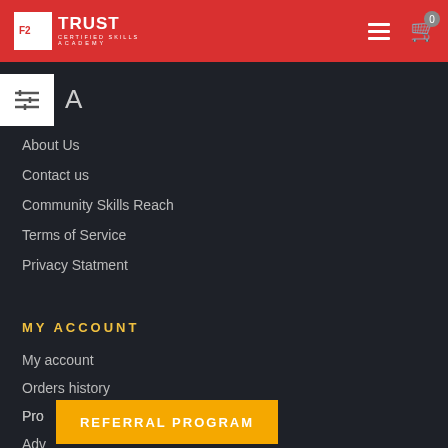[Figure (logo): Trust Certified Skills Academy logo on red header bar with hamburger menu and cart icon showing 0]
A
About Us
Contact us
Community Skills Reach
Terms of Service
Privacy Statment
MY ACCOUNT
My account
Orders history
Pro...
Adv... Search
Terms of Purchase
REFERRAL PROGRAM